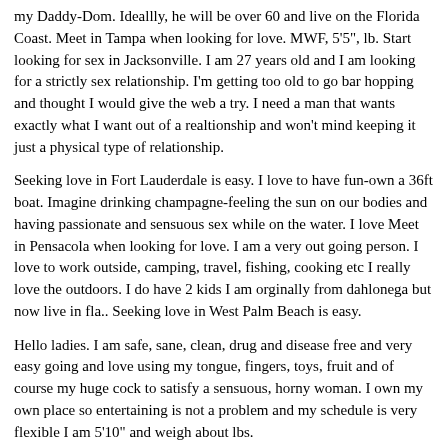my Daddy-Dom. Ideallly, he will be over 60 and live on the Florida Coast. Meet in Tampa when looking for love. MWF, 5'5", lb. Start looking for sex in Jacksonville. I am 27 years old and I am looking for a strictly sex relationship. I'm getting too old to go bar hopping and thought I would give the web a try. I need a man that wants exactly what I want out of a realtionship and won't mind keeping it just a physical type of relationship.
Seeking love in Fort Lauderdale is easy. I love to have fun-own a 36ft boat. Imagine drinking champagne-feeling the sun on our bodies and having passionate and sensuous sex while on the water. I love Meet in Pensacola when looking for love. I am a very out going person. I love to work outside, camping, travel, fishing, cooking etc I really love the outdoors. I do have 2 kids I am orginally from dahlonega but now live in fla.. Seeking love in West Palm Beach is easy.
Hello ladies. I am safe, sane, clean, drug and disease free and very easy going and love using my tongue, fingers, toys, fruit and of course my huge cock to satisfy a sensuous, horny woman. I own my own place so entertaining is not a problem and my schedule is very flexible I am 5'10" and weigh about lbs.
Seeking love in Tallahassee is easy. Hey there. Im just your regular girl out for a fun time. Never too much fun to be had. I enjoy